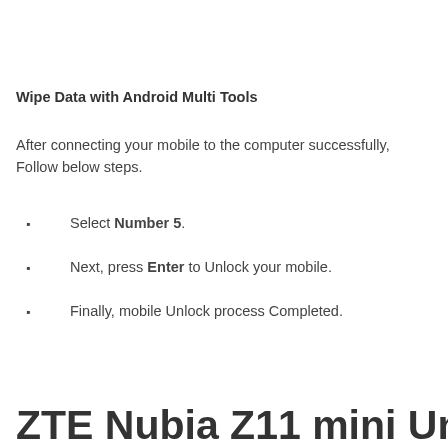Wipe Data with Android Multi Tools
After connecting your mobile to the computer successfully, Follow below steps.
Select Number 5.
Next, press Enter to Unlock your mobile.
Finally, mobile Unlock process Completed.
ZTE Nubia Z11 mini Unlock